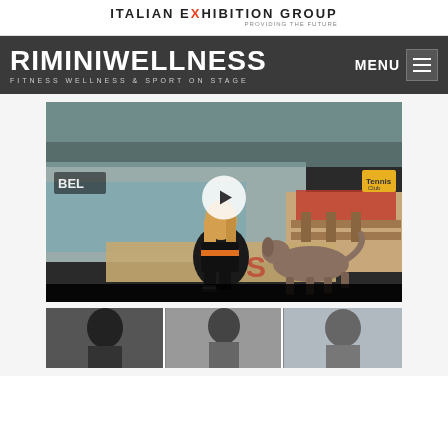ITALIAN EXHIBITION GROUP — Providing the future
[Figure (logo): Riminiwellness — FITNESS WELLNESS & SPORT ON STAGE logo with MENU button on dark background navigation bar]
[Figure (screenshot): Video thumbnail showing a woman with blonde hair crouching next to a dog at an indoor event, with a play button overlay. BEL logo visible top-left and a small channel logo top-right.]
[Figure (photo): Partial view of a second video thumbnail showing people at what appears to be a wellness/fitness event.]